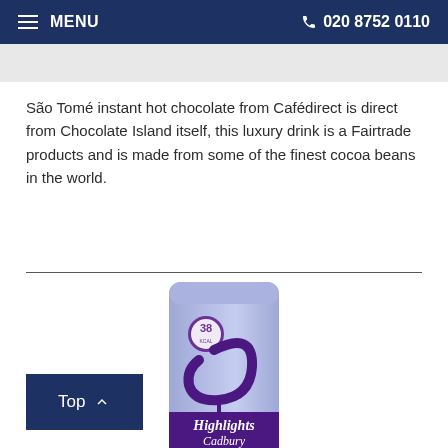MENU   020 8752 0110
São Tomé instant hot chocolate from Cafédirect is direct from Chocolate Island itself, this luxury drink is a Fairtrade products and is made from some of the finest cocoa beans in the world.
[Figure (photo): Cadbury Highlights hot chocolate product packaging - a light purple/lavender tube with the Cadbury Highlights logo showing a stylized C with a circular '38' badge]
Top ↑